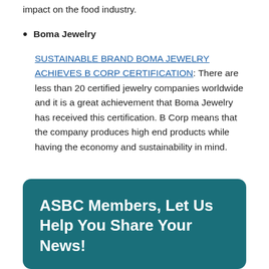impact on the food industry.
Boma Jewelry
SUSTAINABLE BRAND BOMA JEWELRY ACHIEVES B CORP CERTIFICATION: There are less than 20 certified jewelry companies worldwide and it is a great achievement that Boma Jewelry has received this certification. B Corp means that the company produces high end products while having the economy and sustainability in mind.
ASBC Members, Let Us Help You Share Your News!